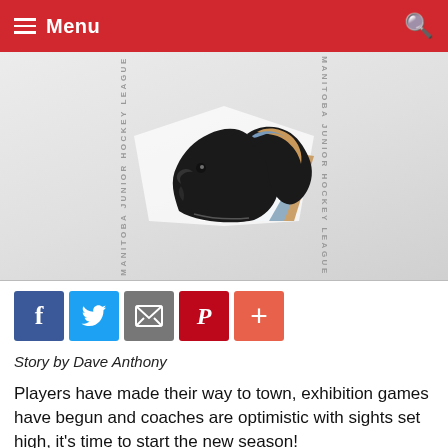Menu
[Figure (logo): Manitoba Junior Hockey League banner with horse/bronco logo in center, vertical text 'MANITOBA JUNIOR HOCKEY LEAGUE' on left and right sides, hexagon pattern background]
Story by Dave Anthony
Players have made their way to town, exhibition games have begun and coaches are optimistic with sights set high, it's time to start the new season!